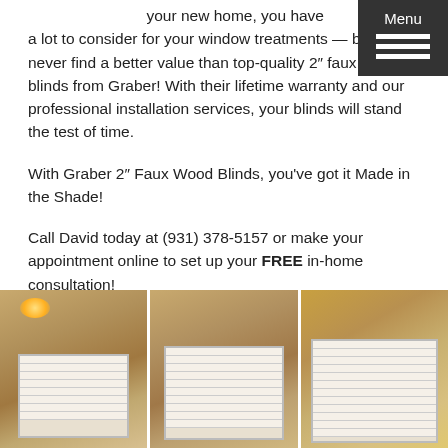When you're moving into your new home, you have a lot to consider for your window treatments — but you'll never find a better value than top-quality 2" faux wood blinds from Graber! With their lifetime warranty and our professional installation services, your blinds will stand the test of time.

With Graber 2" Faux Wood Blinds, you've got it Made in the Shade!

Call David today at (931) 378-5157 or make your appointment online to set up your FREE in-home consultation!
[Figure (photo): Three side-by-side interior room photos showing windows with white faux wood blinds installed in a new home with tan/beige walls]